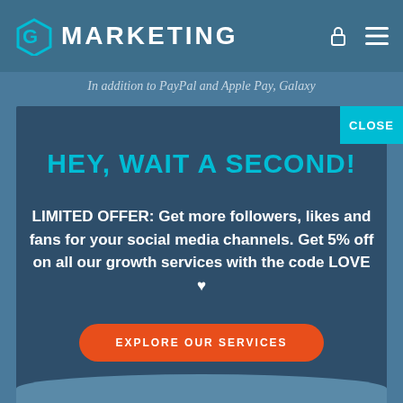G MARKETING
In addition to PayPal and Apple Pay, Galaxy
HEY, WAIT A SECOND!
LIMITED OFFER: Get more followers, likes and fans for your social media channels. Get 5% off on all our growth services with the code LOVE ♥
EXPLORE OUR SERVICES
CLOSE